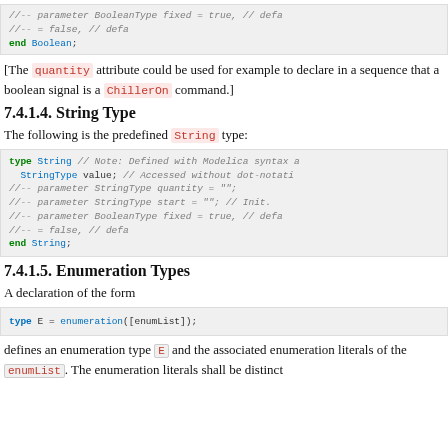[Figure (screenshot): Code block showing end of Boolean type definition with commented-out BooleanType fixed parameter lines and end Boolean statement]
[The quantity attribute could be used for example to declare in a sequence that a boolean signal is a ChillerOn command.]
7.4.1.4. String Type
The following is the predefined String type:
[Figure (screenshot): Code block showing String type definition with StringType value, commented-out quantity, start, fixed parameters and end String statement]
7.4.1.5. Enumeration Types
A declaration of the form
[Figure (screenshot): Code block showing: type E = enumeration([enumList]);]
defines an enumeration type E and the associated enumeration literals of the enumList. The enumeration literals shall be distinct